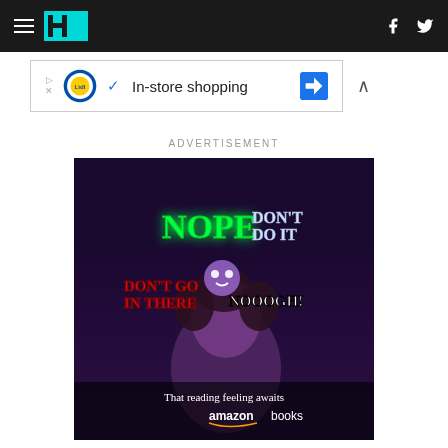HuffPost navigation with hamburger menu, logo, Facebook and Twitter icons
[Figure (screenshot): Lidl advertisement banner with In-store shopping text and navigation icon]
ADVERTISEMENT
[Figure (photo): Amazon Books advertisement showing a woman watching something scary with horror text overlays (NOPE, DON'T DO IT, DON'T GO IN THERE, NOOOGH!) and tagline 'That reading feeling awaits' with Amazon Books logo]